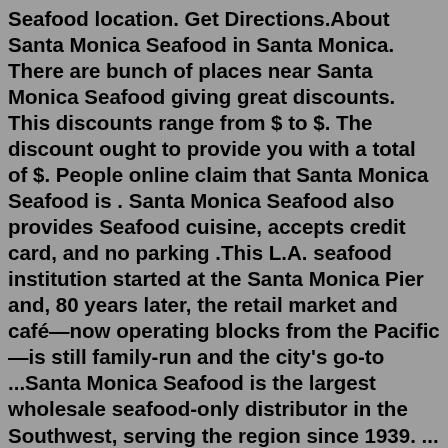Seafood location. Get Directions.About Santa Monica Seafood in Santa Monica. There are bunch of places near Santa Monica Seafood giving great discounts. This discounts range from $ to $. The discount ought to provide you with a total of $. People online claim that Santa Monica Seafood is . Santa Monica Seafood also provides Seafood cuisine, accepts credit card, and no parking .This L.A. seafood institution started at the Santa Monica Pier and, 80 years later, the retail market and café—now operating blocks from the Pacific—is still family-run and the city's go-to ...Santa Monica Seafood is the largest wholesale seafood-only distributor in the Southwest, serving the region since 1939. ... Cooked Atlantic Lobster Meat $ 34. 7 oz ... Santa Monica. Photo courtesy of Gilbert's El Indio. For 47 years and counting, Gilbert's El Indio has been serving up the best Mexican food in Santa Monica. This family-run eatery has lasted ...The Lobster. Unclaimed. 12 reviews #2,424 of 6,503 Restaurants in Los Angeles American Seafood Grill. 1602 Ocean Ave, Los Angeles, CA 90401-2312 +1 310-458-0394 Website